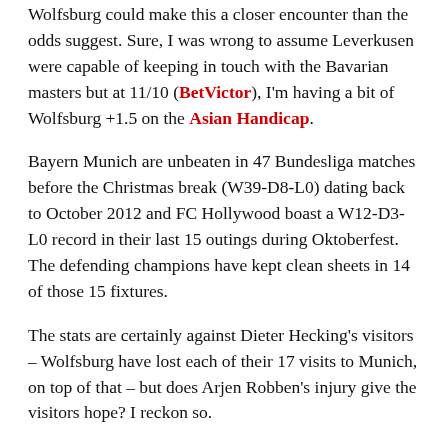Wolfsburg could make this a closer encounter than the odds suggest. Sure, I was wrong to assume Leverkusen were capable of keeping in touch with the Bavarian masters but at 11/10 (BetVictor), I'm having a bit of Wolfsburg +1.5 on the Asian Handicap.
Bayern Munich are unbeaten in 47 Bundesliga matches before the Christmas break (W39-D8-L0) dating back to October 2012 and FC Hollywood boast a W12-D3-L0 record in their last 15 outings during Oktoberfest. The defending champions have kept clean sheets in 14 of those 15 fixtures.
The stats are certainly against Dieter Hecking's visitors – Wolfsburg have lost each of their 17 visits to Munich, on top of that – but does Arjen Robben's injury give the visitors hope? I reckon so.
Yeah, Douglas Costa has been marvellous, Arturo Vidal scored a stunner on Saturday but even so, it's worth pointing out that